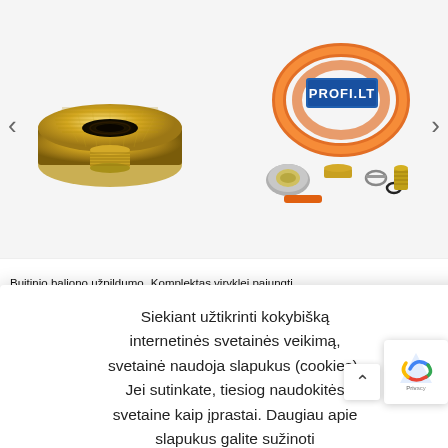[Figure (photo): Brass fitting/connector, golden metallic color on white background]
[Figure (photo): Gas hose kit for stove connection with orange hose, regulator, connectors and PROFI.LT logo]
Buitinio baliono užpildumo
Komplektas viryklei pajungti
VM
Siekiant užtikrinti kokybišką internetinės svetainės veikimą, svetainė naudoja slapukus (cookies). Jei sutinkate, tiesiog naudokitės svetaine kaip įprastai. Daugiau apie slapukus galite sužinoti privatumo politikoje. SUTINKU
Butanas.lt ne tik elektroninė, bet ir reali parduotuvė įsikūrusi